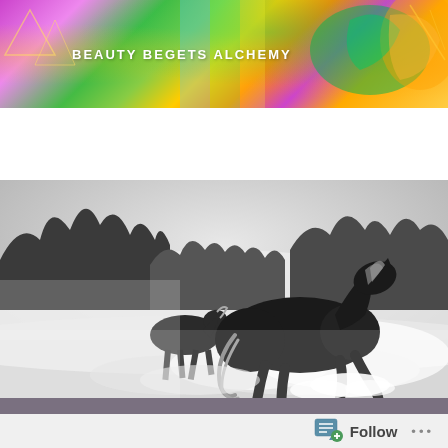BEAUTY BEGETS ALCHEMY
≡  Menu
[Figure (photo): Black and white photograph of two horses galloping through dust and mist with trees silhouetted in the background]
Follow  •••